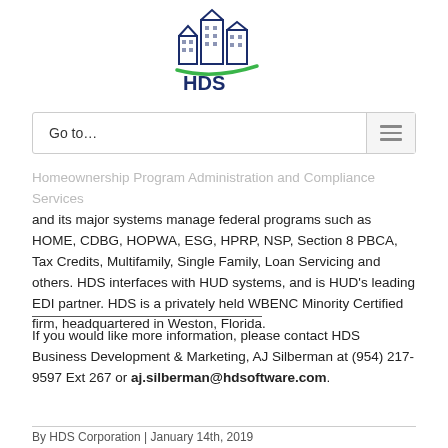[Figure (logo): HDS logo with buildings icon and green swoosh]
Go to…
Homeownership Program Administration and Compliance Services and its major systems manage federal programs such as HOME, CDBG, HOPWA, ESG, HPRP, NSP, Section 8 PBCA, Tax Credits, Multifamily, Single Family, Loan Servicing and others. HDS interfaces with HUD systems, and is HUD's leading EDI partner. HDS is a privately held WBENC Minority Certified firm, headquartered in Weston, Florida.
If you would like more information, please contact HDS Business Development & Marketing, AJ Silberman at (954) 217-9597 Ext 267 or aj.silberman@hdsoftware.com.
By HDS Corporation | January 14th, 2019